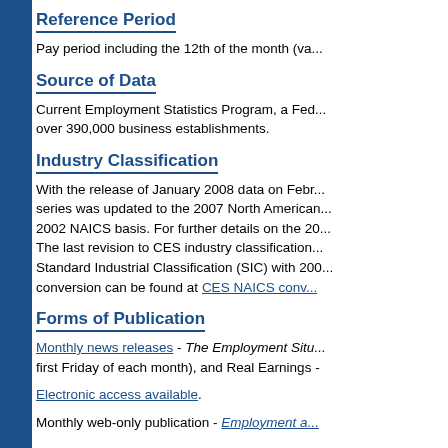Reference Period
Pay period including the 12th of the month (va...
Source of Data
Current Employment Statistics Program, a Fed... over 390,000 business establishments.
Industry Classification
With the release of January 2008 data on Febr... series was updated to the 2007 North American... 2002 NAICS basis. For further details on the 20... The last revision to CES industry classification... Standard Industrial Classification (SIC) with 200... conversion can be found at CES NAICS conv...
Forms of Publication
Monthly news releases - The Employment Situ... first Friday of each month), and Real Earnings -
Electronic access available.
Monthly web-only publication - Employment a...